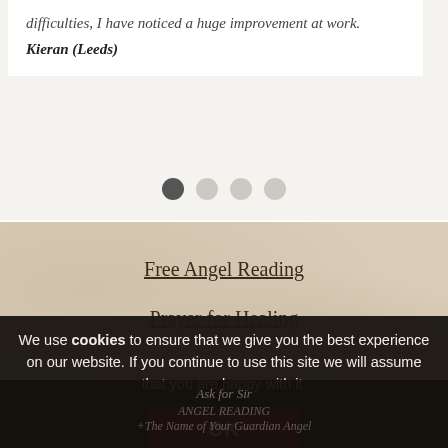difficulties, I have noticed a huge improvement at work.
Kieran (Leeds)
[Figure (other): Carousel navigation dots: one dark filled dot and three lighter dots indicating slide position]
Free Angel Reading
Prayer for Healing
We use cookies to ensure that we give you the best experience on our website. If you continue to use this site we will assume that you are happy with it.
OK
Ask for Sir
ANGEL READING +The Name of Your Guardian Angel